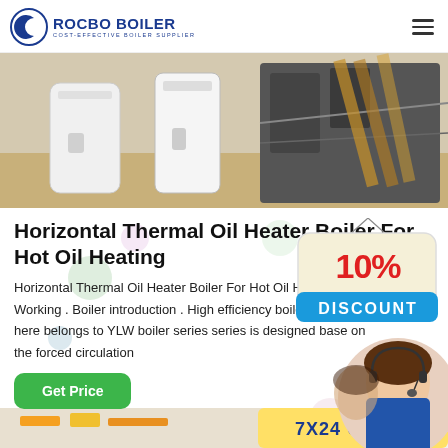[Figure (logo): Rocbo Boiler logo with crescent moon icon, text ROCBO BOILER and tagline COST-EFFECTIVE BOILER SUPPLIER]
[Figure (photo): Industrial boiler equipment in a workshop setting, white cylindrical boiler units with machinery in background]
Horizontal Thermal Oil Heater Boiler For Hot Oil Heating
Horizontal Thermal Oil Heater Boiler For Hot Oil Heating Working . Boiler introduction . High efficiency boiler for industry here belongs to YLW boiler series series is designed base on the forced circulation
[Figure (infographic): 10% DISCOUNT promotional badge with customer service representative photo]
[Figure (infographic): 7X24 Online support badge at the bottom of the page]